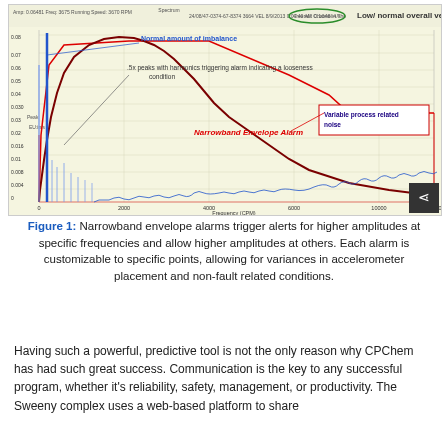[Figure (continuous-plot): Vibration spectrum chart showing narrowband envelope alarm. Annotations include: 'Normal amount of imbalance' (blue arrow to dominant low-frequency peak), '.5x peaks with harmonics triggering alarm indicating a looseness condition' (dark red annotation), 'Narrowband Envelope Alarm' (red label on the alarm envelope curve), 'Variable process related noise' (box at right side). Header reads 'Low/ normal overall velocity'. X-axis labeled 'Frequency (CPM)', Y-axis labeled 'Peak Amplitude'. Background is pale yellow.]
Figure 1: Narrowband envelope alarms trigger alerts for higher amplitudes at specific frequencies and allow higher amplitudes at others. Each alarm is customizable to specific points, allowing for variances in accelerometer placement and non-fault related conditions.
Having such a powerful, predictive tool is not the only reason why CPChem has had such great success. Communication is the key to any successful program, whether it's reliability, safety, management, or productivity. The Sweeny complex uses a web-based platform to share